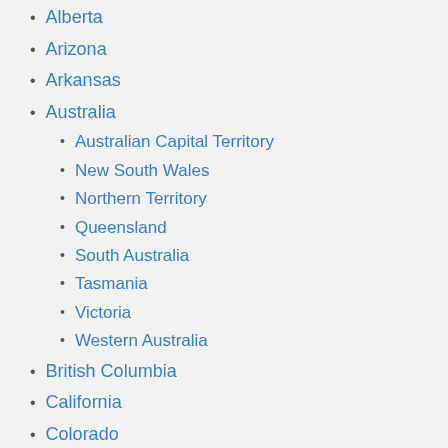Alberta
Arizona
Arkansas
Australia
Australian Capital Territory
New South Wales
Northern Territory
Queensland
South Australia
Tasmania
Victoria
Western Australia
British Columbia
California
Colorado
Connecticut
Delaware
District of Columbia
Florida